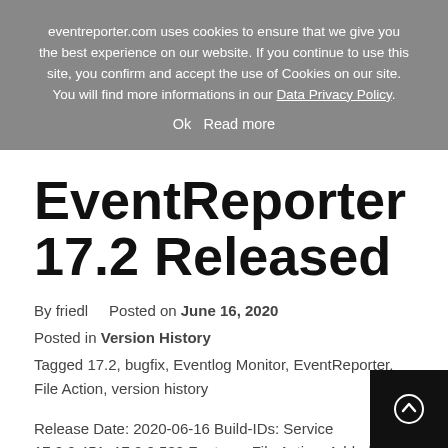eventreporter.com uses cookies to ensure that we give you the best experience on our website. If you continue to use this site, you confirm and accept the use of Cookies on our site. You will find more informations in our Data Privacy Policy.
Ok   Read more
EventReporter 17.2 Released
By friedl   Posted on June 16, 2020
Posted in Version History
Tagged 17.2, bugfix, Eventlog Monitor, EventReporter, File Action, version history
Release Date: 2020-06-16 Build-IDs: Service 17.2.0.451, 17.2.0.539 Features File Action: Added option "Explicitly update